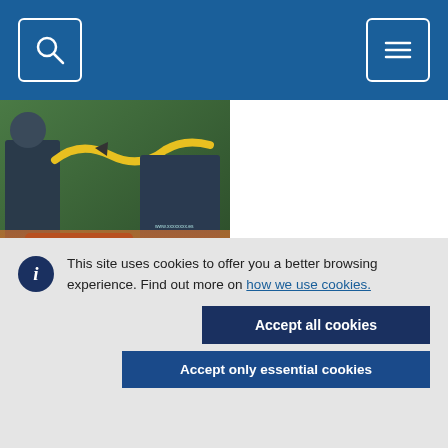Navigation header with search and menu icons
[Figure (photo): Screenshot of a website showing an event image with yellow decorative curve and orange event badge, partially visible]
Thursday, 9 June, 2016 - 00:00 to Saturday, 11 June, 2016 - 00:00
Torre del Mar
This site uses cookies to offer you a better browsing experience. Find out more on how we use cookies.
Accept all cookies
Accept only essential cookies